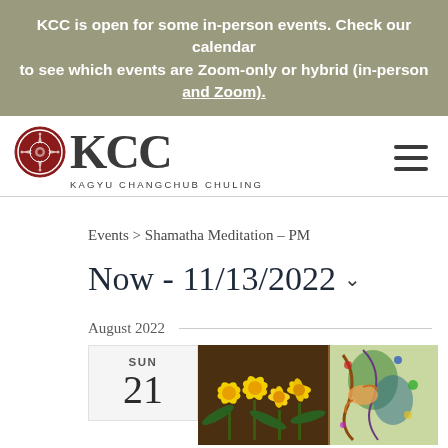KCC is open for some in-person events. Check our calendar to see which events are Zoom-only or hybrid (in-person and Zoom).
[Figure (logo): KCC (Kagyu Changchub Chuling) logo with circular Tibetan emblem and large KCC letters]
Events > Shamatha Meditation – PM
Now - 11/13/2022
August 2022
SUN
21
[Figure (photo): Yellow daffodil flowers and colorful Tibetan artwork/thangka side by side]